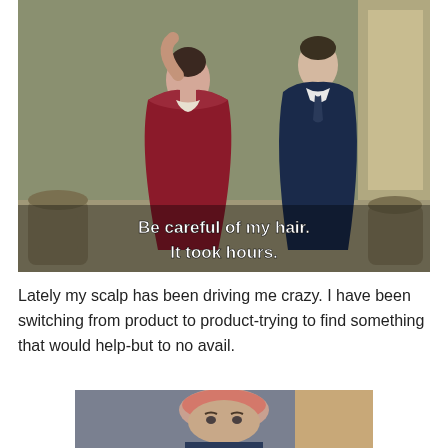[Figure (photo): A vintage colorized film still showing a woman in a dark red ruffled dress with her hand raised to her hair, facing a man in a dark suit. Subtitle text overlaid reads: 'Be careful of my hair. It took hours.']
Lately my scalp has been driving me crazy. I have been switching from product to product-trying to find something that would help-but to no avail.
[Figure (photo): A bald man with a reddish scalp visible, shown from chest up, in what appears to be a movie or TV still.]